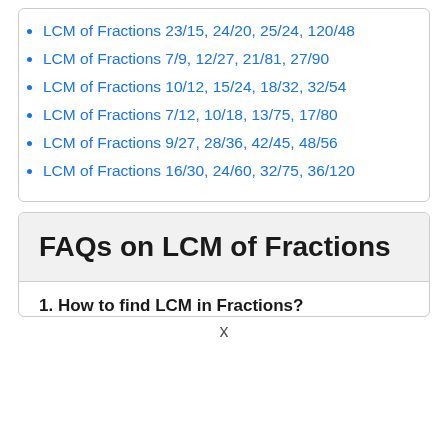LCM of Fractions 23/15, 24/20, 25/24, 120/48
LCM of Fractions 7/9, 12/27, 21/81, 27/90
LCM of Fractions 10/12, 15/24, 18/32, 32/54
LCM of Fractions 7/12, 10/18, 13/75, 17/80
LCM of Fractions 9/27, 28/36, 42/45, 48/56
LCM of Fractions 16/30, 24/60, 32/75, 36/120
FAQs on LCM of Fractions
1. How to find LCM in Fractions?